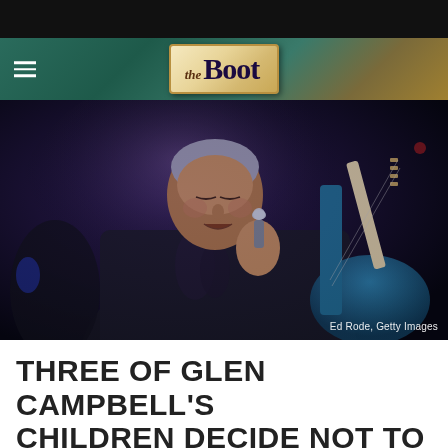[Figure (logo): The Boot website logo — stylized text reading 'the Boot' on a parchment/gold colored rectangular badge with decorative border, set against a teal/green and golden textured background with hamburger menu icon on the left]
[Figure (photo): Glen Campbell performing on stage, holding a microphone and singing with eyes closed, wearing a dark embroidered shirt. A blue electric guitar is visible in the foreground. Purple stage lighting illuminates the scene. Photo credit: Ed Rode, Getty Images]
Ed Rode, Getty Images
THREE OF GLEN CAMPBELL'S CHILDREN DECIDE NOT TO